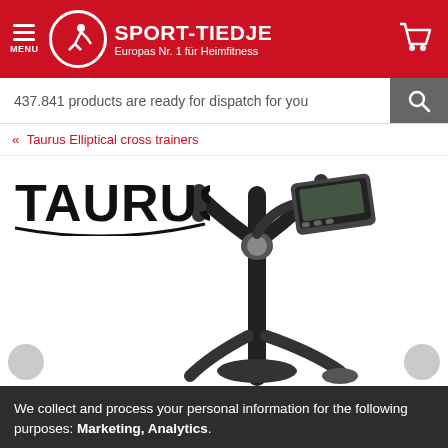SPORT-TIEDJE — Europas Nr. 1 für Heimfitness
437.841 products are ready for dispatch for you
« Taurus Elliptical cross trainers
[Figure (photo): Taurus brand logo in large black text with swoosh underline, and a close-up photo of a Taurus elliptical cross trainer handlebar and console area against white background]
We collect and process your personal information for the following purposes: Marketing, Analytics.
Decline  Accept all  Customize...